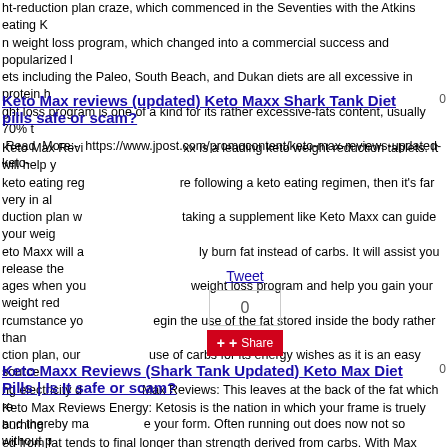ht-reduction plan craze, which commenced in the Seventies with the Atkins eating K n weight loss program, which changed into a commercial success and popularized l ets including the Paleo, South Beach, and Dukan diets are all excessive in protein h ght loss program is one of a kind for its rather excessive-fats content, usually 70% t Read More:- https://www.jpost.com/promocontent/keto-max-reviews-updated-keto-
Keto Max reviews (updated) Keto Maxx Shark Tank Diet pills safe or scam?
Keto Max Revi xx is a leading keto weight reduction tablets. It will help y keto eating reg re following a keto eating regimen, then it's far very in a duction plan w taking a supplement like Keto Maxx can guide your wei eto Maxx will a ly burn fat instead of carbs. It will assist you release the ages when you weight loss program and help you gain your weight re rcumstance yo egin the use of the fat stored inside the body rather than ction plan, our se of carbs for its energy wishes as it is an easy source ng electricity d Max Reviews: This leaves at the back of the fat which r and thereby m e your form. Often running out does now not so without p cussed fat to your belly vicinity, on your buttocks and thighs. See More At: https://ww d-keto-maxx-shark-tank-diet-pills-safe-or-scam-705843
Keto Maxx Reviews (Shark Tank Updated) Keto Max Diet Pills | Is It safe or scam?
Keto Max Reviews Energy: Ketosis is the nation in which your frame is truely burning ed from fat tends to final longer than strength derived from carbs. With Max Keto, yo creased brain fog and tiredness during the day. This will help you achieve responsibi point of the day. Keto max reviews sincerely facilitates your body reap ketosis rapid a carbs. You may be relaxation confident that you are not making a mistake via investi benefits: Keto max reviews BHB works almost right away to assist aid ketosis within t erfect supply of power and while you're in ketosis you enjoy strength and intellectual eedy weight loss. The Keto max reviews is scientifically proven to offer fats